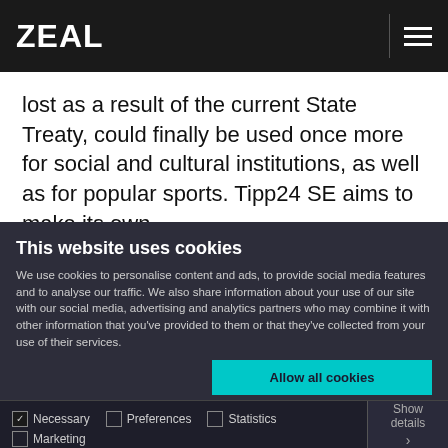ZEAL
lost as a result of the current State Treaty, could finally be used once more for social and cultural institutions, as well as for popular sports. Tipp24 SE aims to make its own
This website uses cookies
We use cookies to personalise content and ads, to provide social media features and to analyse our traffic. We also share information about your use of our site with our social media, advertising and analytics partners who may combine it with other information that you've provided to them or that they've collected from your use of their services.
Allow all cookies
Allow selection
Use necessary cookies only
Necessary  Preferences  Statistics  Marketing  Show details